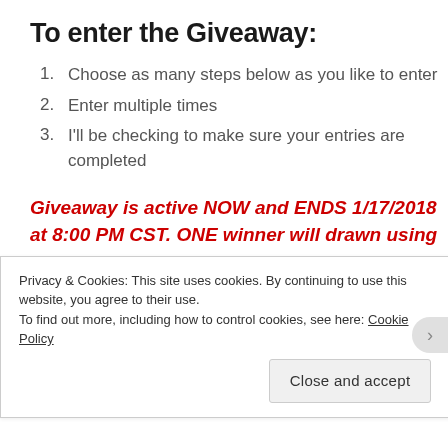To enter the Giveaway:
Choose as many steps below as you like to enter
Enter multiple times
I'll be checking to make sure your entries are completed
Giveaway is active NOW and ENDS 1/17/2018 at 8:00 PM CST. ONE winner will drawn using random.org and announced the following week here on this post and an email to the winner. Entrants
Privacy & Cookies: This site uses cookies. By continuing to use this website, you agree to their use.
To find out more, including how to control cookies, see here: Cookie Policy
Close and accept